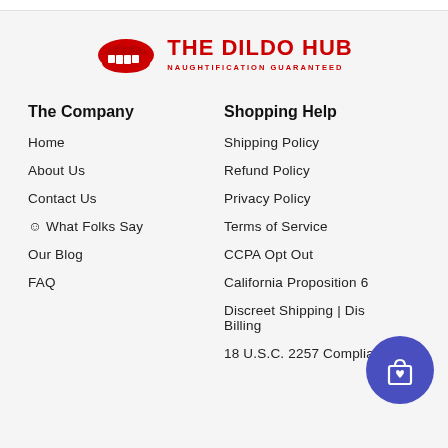[Figure (logo): The Dildo Hub logo with red lips icon and red text 'THE DILDO HUB' with tagline 'NAUGHTIFICATION GUARANTEED']
The Company
Home
About Us
Contact Us
☺ What Folks Say
Our Blog
FAQ
Shopping Help
Shipping Policy
Refund Policy
Privacy Policy
Terms of Service
CCPA Opt Out
California Proposition 6
Discreet Shipping | Discreet Billing
18 U.S.C. 2257 Compliance